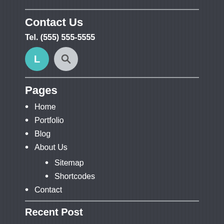Contact Us
Tel. (555) 555-5555
[Figure (illustration): Two circular icons: a teal circle with letter L, and a gray circle with a magnifying glass icon]
Pages
Home
Portfolio
Blog
About Us
Sitemap
Shortcodes
Contact
Recent Post